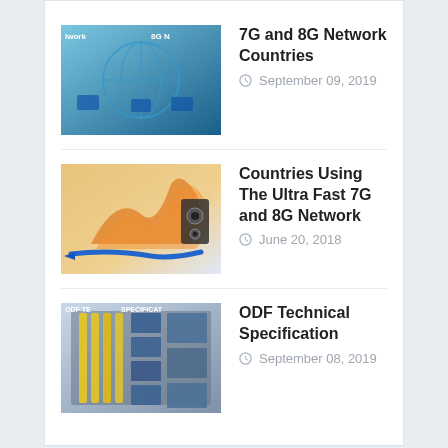7G and 8G Network Countries — September 09, 2019
Countries Using The Ultra Fast 7G and 8G Network — June 20, 2018
ODF Technical Specification — September 08, 2019
SUBSCRIBE US
FACEBOOK